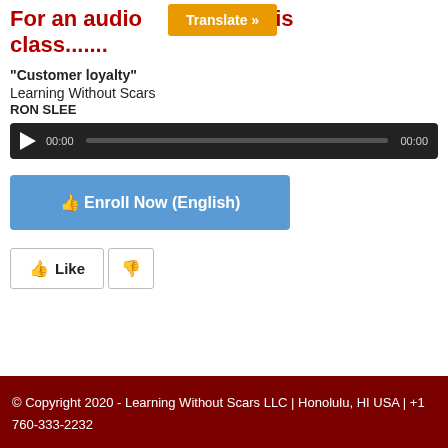For an audio version of this class.......
"Customer loyalty"
Learning Without Scars
RON SLEE
[Figure (other): Audio player bar with play button, 00:00 start time, progress bar, and 00:00 end time on dark background]
[Figure (other): Blue button with thumbs up icon: Enroll Now (English)]
[Figure (other): Like button with green thumbs up and Dislike button with red thumbs down]
© Copyright 2020 - Learning Without Scars LLC | Honolulu, HI USA | +1 760-333-2232